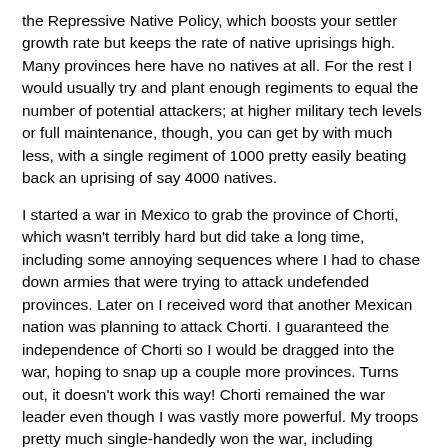the Repressive Native Policy, which boosts your settler growth rate but keeps the rate of native uprisings high. Many provinces here have no natives at all. For the rest I would usually try and plant enough regiments to equal the number of potential attackers; at higher military tech levels or full maintenance, though, you can get by with much less, with a single regiment of 1000 pretty easily beating back an uprising of say 4000 natives.
I started a war in Mexico to grab the province of Chorti, which wasn't terribly hard but did take a long time, including some annoying sequences where I had to chase down armies that were trying to attack undefended provinces. Later on I received word that another Mexican nation was planning to attack Chorti. I guaranteed the independence of Chorti so I would be dragged into the war, hoping to snap up a couple more provinces. Turns out, it doesn't work this way! Chorti remained the war leader even though I was vastly more powerful. My troops pretty much single-handedly won the war, including several long sieges, but all I had to show for it in the end was a couple of Prestige points and like four ducats in gold, while Chorti got to grow some more